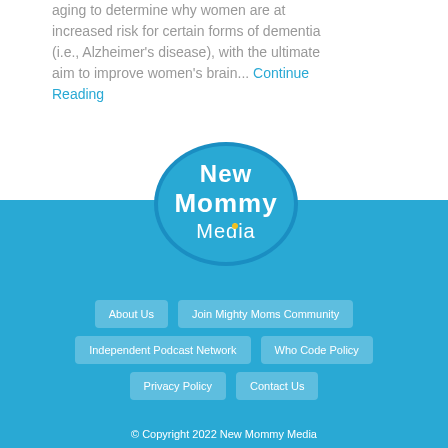aging to determine why women are at increased risk for certain forms of dementia (i.e., Alzheimer's disease), with the ultimate aim to improve women's brain... Continue Reading
[Figure (logo): New Mommy Media logo — a blue speech bubble containing the text 'New Mommy Media' in white lettering]
About Us
Join Mighty Moms Community
Independent Podcast Network
Who Code Policy
Privacy Policy
Contact Us
© Copyright 2022 New Mommy Media